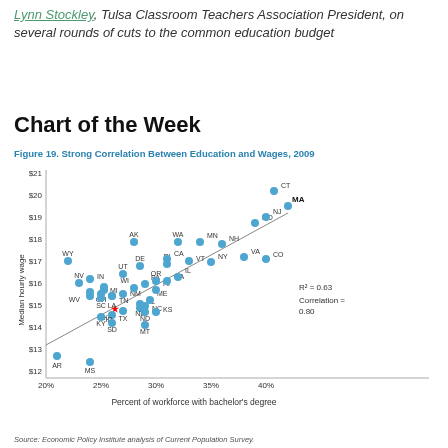Lynn Stockley, Tulsa Classroom Teachers Association President, on several rounds of cuts to the common education budget
Chart of the Week
Figure 19. Strong Correlation Between Education and Wages, 2009
[Figure (scatter-plot): Scatter plot showing correlation between % workforce with bachelor's degree (x-axis, 20%-40%) and median hourly wage (y-axis, $12-$21) for US states. Includes trend line. R²=0.63, Correlation=0.80. States labeled with abbreviations. OK marked with red star.]
Source: Economic Policy Institute analysis of Current Population Survey.